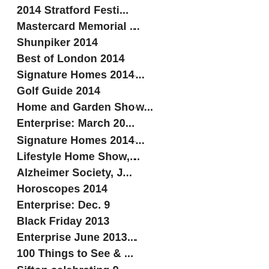2014 Stratford Festi...
Mastercard Memorial ...
Shunpiker 2014
Best of London 2014
Signature Homes 2014...
Golf Guide 2014
Home and Garden Show...
Enterprise: March 20...
Signature Homes 2014...
Lifestyle Home Show,...
Alzheimer Society, J...
Horoscopes 2014
Enterprise: Dec. 9
Black Friday 2013
Enterprise June 2013...
100 Things to See & ...
Sifton celebrating 9...
Enterprise
LONDON